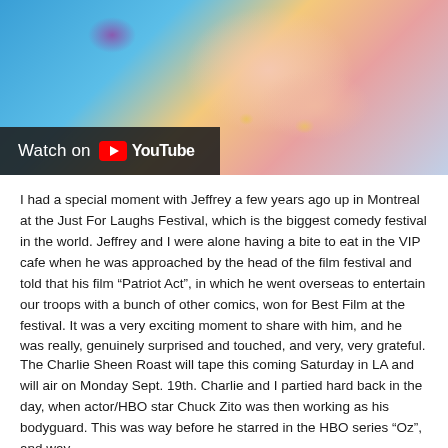[Figure (illustration): Pop-art style illustration of a person smiling, with blue background, dotted halftone pattern, and a 'Watch on YouTube' overlay bar in the lower left.]
I had a special moment with Jeffrey a few years ago up in Montreal at the Just For Laughs Festival, which is the biggest comedy festival in the world. Jeffrey and I were alone having a bite to eat in the VIP cafe when he was approached by the head of the film festival and told that his film "Patriot Act", in which he went overseas to entertain our troops with a bunch of other comics, won for Best Film at the festival. It was a very exciting moment to share with him, and he was really, genuinely surprised and touched, and very, very grateful.
The Charlie Sheen Roast will tape this coming Saturday in LA and will air on Monday Sept. 19th. Charlie and I partied hard back in the day, when actor/HBO star Chuck Zito was then working as his bodyguard. This was way before he starred in the HBO series "Oz", and way